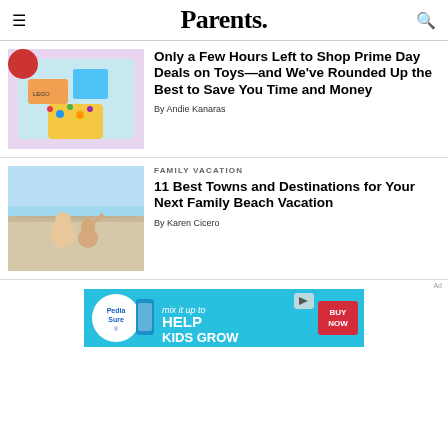Parents.
[Figure (photo): Colorful LEGO toys scattered on a light purple/teal mat with a red element at top]
Only a Few Hours Left to Shop Prime Day Deals on Toys—and We've Rounded Up the Best to Save You Time and Money
By Andie Kanaras
[Figure (photo): Two young children playing on a sandy beach at the ocean's edge]
FAMILY VACATION
11 Best Towns and Destinations for Your Next Family Beach Vacation
By Karen Cicero
[Figure (infographic): PediaSure advertisement banner: mix it up to HELP KIDS GROW with BUY NOW button]